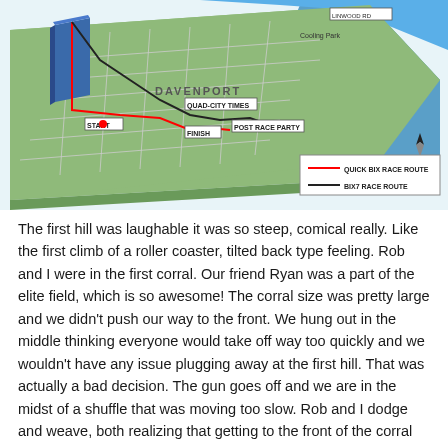[Figure (map): 3D isometric map of Davenport showing the Mississippi River, race routes labeled QUICK BIX RACE ROUTE (red line) and BIX7 RACE ROUTE (black line), with markers for START, FINISH, POST RACE PARTY, QUAD-CITY TIMES, and other landmarks. A north arrow and legend are included.]
The first hill was laughable it was so steep, comical really. Like the first climb of a roller coaster, tilted back type feeling. Rob and I were in the first corral. Our friend Ryan was a part of the elite field, which is so awesome! The corral size was pretty large and we didn’t push our way to the front. We hung out in the middle thinking everyone would take off way too quickly and we wouldn’t have any issue plugging away at the first hill. That was actually a bad decision. The gun goes off and we are in the midst of a shuffle that was moving too slow. Rob and I dodge and weave, both realizing that getting to the front of the corral